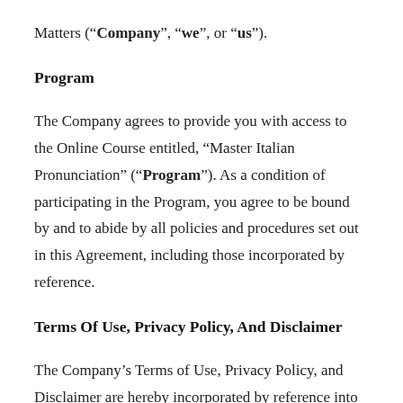Matters (“Company”, “we”, or “us”).
Program
The Company agrees to provide you with access to the Online Course entitled, “Master Italian Pronunciation” (“Program”). As a condition of participating in the Program, you agree to be bound by and to abide by all policies and procedures set out in this Agreement, including those incorporated by reference.
Terms Of Use, Privacy Policy, And Disclaimer
The Company’s Terms of Use, Privacy Policy, and Disclaimer are hereby incorporated by reference into this agreement. Except as modified by this